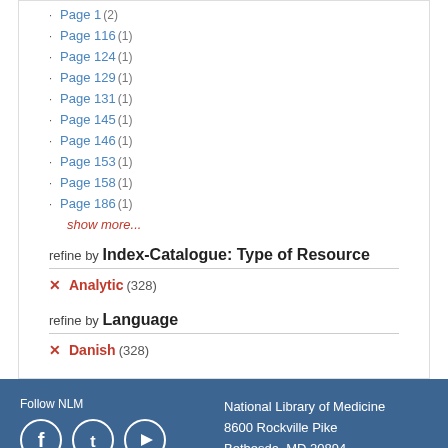Page 1 (2)
Page 116 (1)
Page 124 (1)
Page 129 (1)
Page 131 (1)
Page 145 (1)
Page 146 (1)
Page 153 (1)
Page 158 (1)
Page 186 (1)
show more...
refine by Index-Catalogue: Type of Resource
Analytic (328)
refine by Language
Danish (328)
Follow NLM | Facebook | Twitter | YouTube | Web Policies | FOIA | HHS Vulnerability Disclosure | National Library of Medicine 8600 Rockville Pike Bethesda, MD 20894 | NLM Support Center | Accessibility | Careers